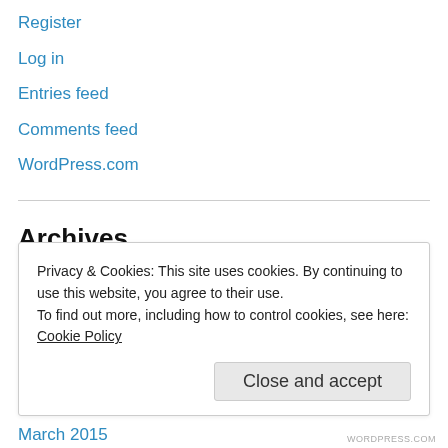Register
Log in
Entries feed
Comments feed
WordPress.com
Archives
November 2020
March 2020
November 2016
June 2015
March 2015
Privacy & Cookies: This site uses cookies. By continuing to use this website, you agree to their use.
To find out more, including how to control cookies, see here: Cookie Policy
Close and accept